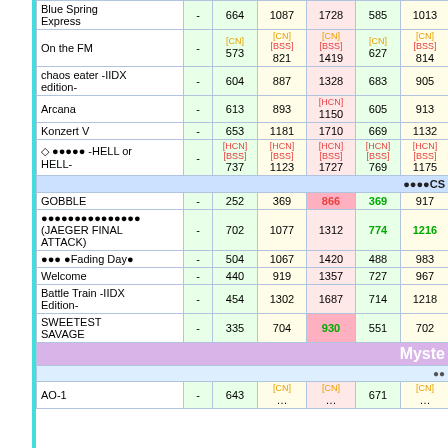| Song | - | Col1 | Col2 | Col3 | Col4 | Col5 |
| --- | --- | --- | --- | --- | --- | --- |
| Blue Spring Express | - | 664 | 1087 | 1728 | 585 | 1013 |
| On the FM | - | [CN] 573 | [CN][BSS] 821 | [CN][BSS] 1419 | [CN] 627 | [CN][BSS] 814 |
| chaos eater -IIDX edition- | - | 604 | 887 | 1328 | 683 | 905 |
| Arcana | - | 613 | 893 | [HCN] 1150 | 605 | 913 |
| Konzert V | - | 653 | 1181 | 1710 | 669 | 1132 |
| ◇ ●●●●● -HELL or HELL- | - | [HCN][BSS] 737 | [HCN][BSS] 1123 | [HCN][BSS] 1727 | [HCN][BSS] 769 | [HCN][BSS] 1175 |
| [section] ●●●CS |  |  |  |  |  |  |
| GOBBLE | - | 252 | 369 | 866 | 369 | 917 |
| ●●●●●●●●●●●●●●● (JAEGER FINAL ATTACK) | - | 702 | 1077 | 1312 | 774 | 1216 |
| ●●● ●Fading Day● | - | 504 | 1067 | 1420 | 488 | 983 |
| Welcome | - | 440 | 919 | 1357 | 727 | 967 |
| Battle Train -IIDX Edition- | - | 454 | 1302 | 1687 | 714 | 1218 |
| SWEETEST SAVAGE | - | 335 | 704 | 930 | 551 | 702 |
| [mystery] Myste... |  |  |  |  |  |  |
| [subrow] ●● |  |  |  |  |  |  |
| AO-1 | - | 643 | [CN] ... | [CN] ... | 671 | [CN] ... |